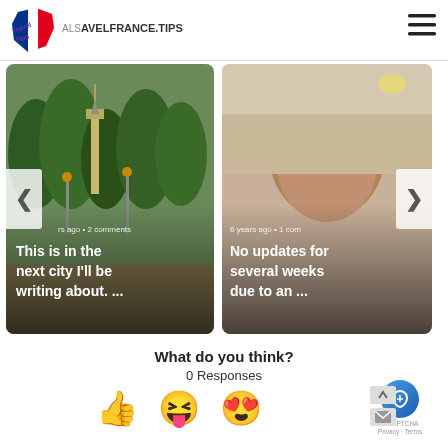ALSAVELFRANCE.TIPS
[Figure (screenshot): Travel blog card showing a monument/tower with trees, text overlay: 'rs ago • 2 comments' and 'This is in the next city I'll be writing about. ...']
[Figure (photo): Travel blog card showing a person's face, text overlay: '6 years ago • 1 com' and 'No updates for several weeks due to an ...']
What do you think?
0 Responses
[Figure (illustration): Three emoji reactions: thumbs up 👍, laughing with tongue 😝, heart eyes 😍]